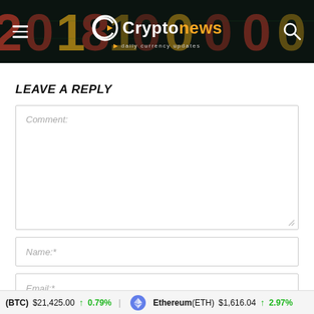[Figure (logo): Cryptonews logo with dark header background featuring digital numbers. White C logo mark with orange accent, 'Crypto' in white and 'news' in orange text, tagline 'daily currency updates'. Hamburger menu icon on left, search icon on right.]
LEAVE A REPLY
Comment:
Name:*
Email:*
(BTC) $21,425.00 ↑ 0.79% Ethereum(ETH) $1,616.04 ↑ 2.97%